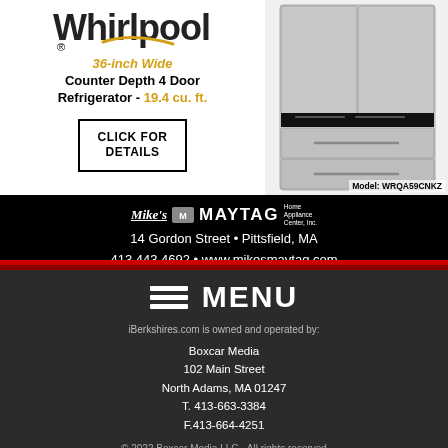[Figure (logo): Whirlpool logo with stylized font and swoop graphic]
36-inch Wide Counter Depth 4 Door Refrigerator - 19.4 cu. ft.
CLICK FOR DETAILS
[Figure (photo): Whirlpool 4-door refrigerator, stainless steel, Model: WRQA59CNKZ]
Model: WRQA59CNKZ
[Figure (logo): Mike's Maytag Home Appliance Center logo]
14 Gordon Street • Pittsfield, MA
413.443.4692 • www.mikesmaytag.com
MENU
iBerkshires.com is owned and operated by:
Boxcar Media
102 Main Street
North Adams, MA 01247
T. 413-663-3384
F.413-664-4251
© 2022 Boxcar Media LLC - All rights reserved